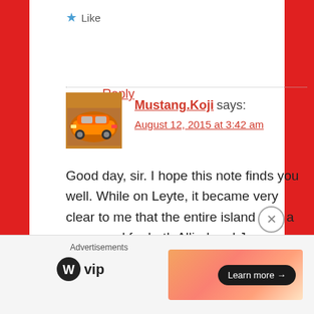★ Like
Reply
Mustang.Koji says:
August 12, 2015 at 3:42 am
Good day, sir. I hope this note finds you well. While on Leyte, it became very clear to me that the entire island was a graveyard for both Allied and Japanese war deaths – plus countless numbers of Filipino civilian and
Advertisements
[Figure (logo): WordPress VIP logo]
[Figure (infographic): Advertisement banner with Learn more button]